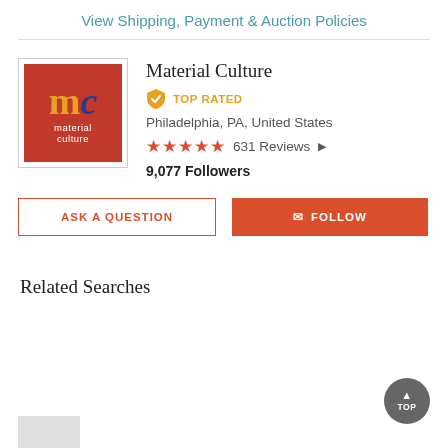View Shipping, Payment & Auction Policies
[Figure (logo): Material Culture logo: red background with orange 'm' and dark blue 'c' letters and text 'material culture' in white]
Material Culture
TOP RATED
Philadelphia, PA, United States
631 Reviews
9,077 Followers
ASK A QUESTION
FOLLOW
Related Searches